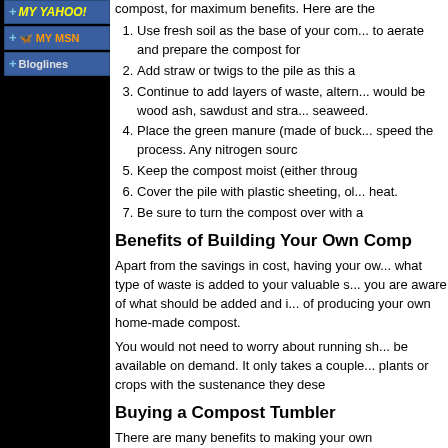[Figure (screenshot): Left sidebar with black background containing three subscription buttons: Add to My Yahoo!, Add to My MSN, and Add to Bloglines]
compost, for maximum benefits. Here are the
1. Use fresh soil as the base of your com... to aerate and prepare the compost for
2. Add straw or twigs to the pile as this a
3. Continue to add layers of waste, altern... would be wood ash, sawdust and stra... seaweed.
4. Place the green manure (made of buck... speed the process. Any nitrogen sourc
5. Keep the compost moist (either throug
6. Cover the pile with plastic sheeting, ol... heat.
7. Be sure to turn the compost over with a
Benefits of Building Your Own Comp
Apart from the savings in cost, having your ow... what type of waste is added to your valuable s... you are aware of what should be added and i... of producing your own home-made compost.
You would not need to worry about running sh... be available on demand. It only takes a couple... plants or crops with the sustenance they dese
Buying a Compost Tumbler
There are many benefits to making your own